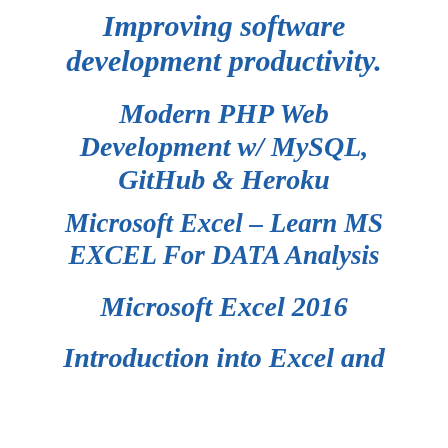Improving software development productivity.
Modern PHP Web Development w/ MySQL, GitHub & Heroku
Microsoft Excel – Learn MS EXCEL For DATA Analysis
Microsoft Excel 2016
Introduction into Excel and